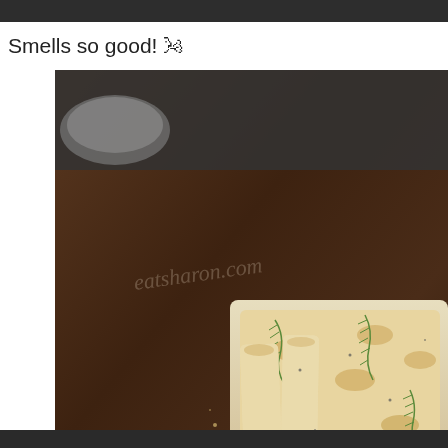Smells so good! 🌬
[Figure (photo): Sliced focaccia bread with rosemary and seasoning on a wooden cutting board, with a bowl visible in the background. Watermark text partially visible.]
Privacy & Cookies: This site uses cookies. By continuing to use this website, you agree to their use.
To find out more, including how to control cookies, see here: Cookie Policy
Close and accept